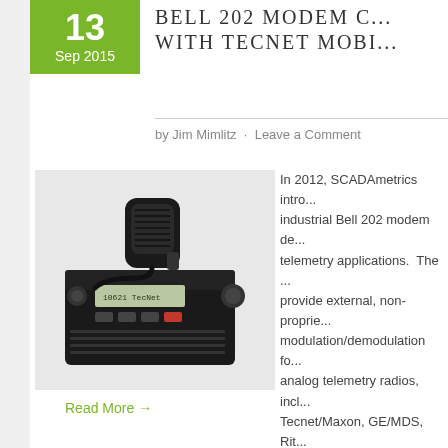13
Sep 2015
BELL 202 MODEM C... WITH TECNET MOBI...
by Jim Mimlitz · Leave a Comment
[Figure (photo): Black Tecnet mobile radio with handheld speaker/microphone]
In 2012, SCADAmetrics intro... industrial Bell 202 modem de... telemetry applications. The ... provide external, non-proprie... modulation/demodulation fo... analog telemetry radios, incl... Tecnet/Maxon, GE/MDS, Rit... Calamp. In support of a cust... recently tasked to verify ...
Read More →